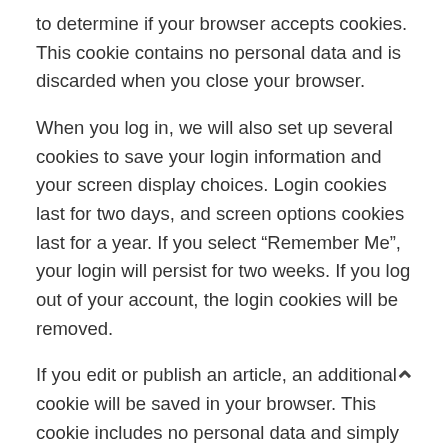to determine if your browser accepts cookies. This cookie contains no personal data and is discarded when you close your browser.
When you log in, we will also set up several cookies to save your login information and your screen display choices. Login cookies last for two days, and screen options cookies last for a year. If you select “Remember Me”, your login will persist for two weeks. If you log out of your account, the login cookies will be removed.
If you edit or publish an article, an additional cookie will be saved in your browser. This cookie includes no personal data and simply indicates the post ID of the article you just edited. It expires after 1 day.
Embedded content from other